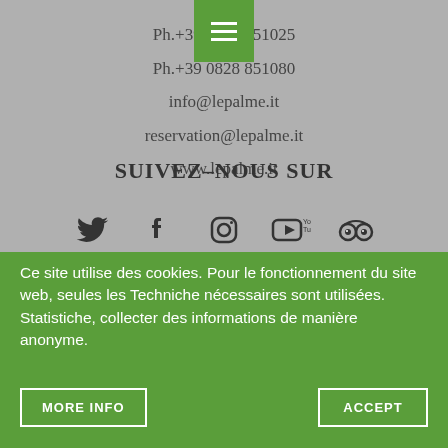Ph.+39 0828 851025
Ph.+39 0828 851080
info@lepalme.it
reservation@lepalme.it
www.lepalme.it
SUIVEZ-NOUS SUR
[Figure (illustration): Social media icons: Twitter, Facebook, Instagram, YouTube, TripAdvisor]
Ce site utilise des cookies. Pour le fonctionnement du site web, seules les Techniche nécessaires sont utilisées. Statistiche, collecter des informations de manière anonyme.
MORE INFO
ACCEPT